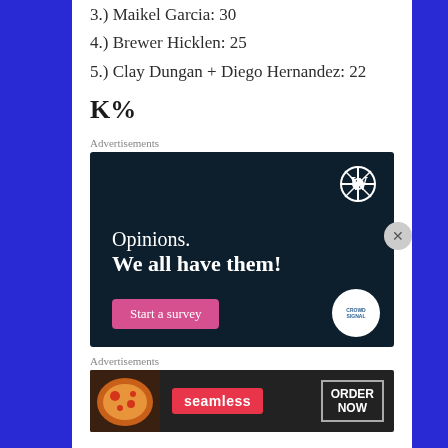3.) Maikel Garcia: 30
4.) Brewer Hicklen: 25
5.) Clay Dungan + Diego Hernandez: 22
K%
Advertisements
[Figure (other): WordPress CrowdSignal advertisement: dark navy background with WordPress logo, text 'Opinions. We all have them!', pink 'Start a survey' button, and CrowdSignal badge]
Advertisements
[Figure (other): Seamless food delivery advertisement with pizza image, seamless logo in red, and ORDER NOW button]